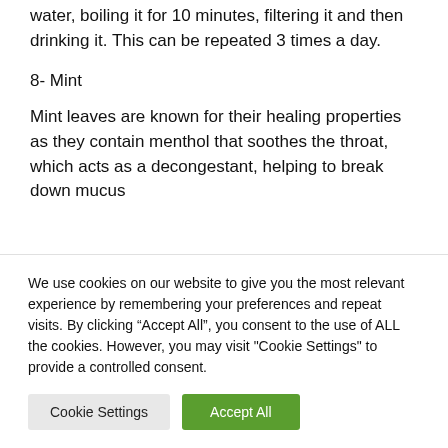water, boiling it for 10 minutes, filtering it and then drinking it. This can be repeated 3 times a day.
8- Mint
Mint leaves are known for their healing properties as they contain menthol that soothes the throat, which acts as a decongestant, helping to break down mucus
We use cookies on our website to give you the most relevant experience by remembering your preferences and repeat visits. By clicking “Accept All”, you consent to the use of ALL the cookies. However, you may visit "Cookie Settings" to provide a controlled consent.